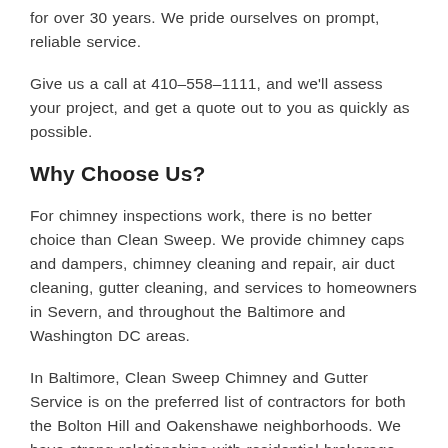for over 30 years. We pride ourselves on prompt, reliable service.
Give us a call at 410-558-1111, and we'll assess your project, and get a quote out to you as quickly as possible.
Why Choose Us?
For chimney inspections work, there is no better choice than Clean Sweep. We provide chimney caps and dampers, chimney cleaning and repair, air duct cleaning, gutter cleaning, and services to homeowners in Severn, and throughout the Baltimore and Washington DC areas.
In Baltimore, Clean Sweep Chimney and Gutter Service is on the preferred list of contractors for both the Bolton Hill and Oakenshawe neighborhoods. We have strong relationships with residential brokerage firms Coldwell Banker, Berkshire Hathaway, Chase Fitzgerald, and Hill & Co. and have completed projects for the City of Baltimore.